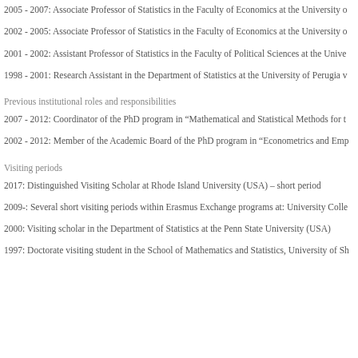2005 - 2007: Associate Professor of Statistics in the Faculty of Economics at the University o
2002 - 2005: Associate Professor of Statistics in the Faculty of Economics at the University o
2001 - 2002: Assistant Professor of Statistics in the Faculty of Political Sciences at the Unive
1998 - 2001: Research Assistant in the Department of Statistics at the University of Perugia v
Previous institutional roles and responsibilities
2007 - 2012: Coordinator of the PhD program in “Mathematical and Statistical Methods for t
2002 - 2012: Member of the Academic Board of the PhD program in “Econometrics and Emp
Visiting periods
2017: Distinguished Visiting Scholar at Rhode Island University (USA) – short period
2009-: Several short visiting periods within Erasmus Exchange programs at: University Colle
2000: Visiting scholar in the Department of Statistics at the Penn State University (USA)
1997: Doctorate visiting student in the School of Mathematics and Statistics, University of Sh